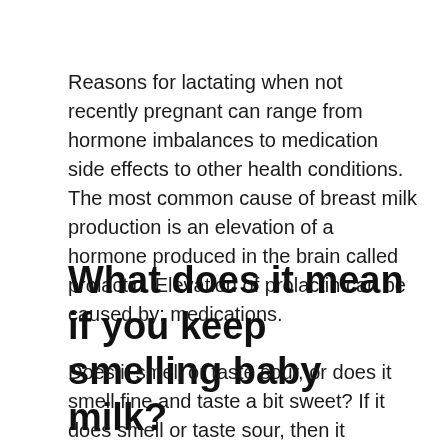Reasons for lactating when not recently pregnant can range from hormone imbalances to medication side effects to other health conditions. The most common cause of breast milk production is an elevation of a hormone produced in the brain called prolactin. Elevation of prolactin can be caused by: medications.
What does it mean if you keep smelling baby milk?
Does it smell or taste sour, or does it smell fine and taste a bit sweet? If it does smell or taste sour, then it indicates the presence of rancid fats and chemical oxidation. Try